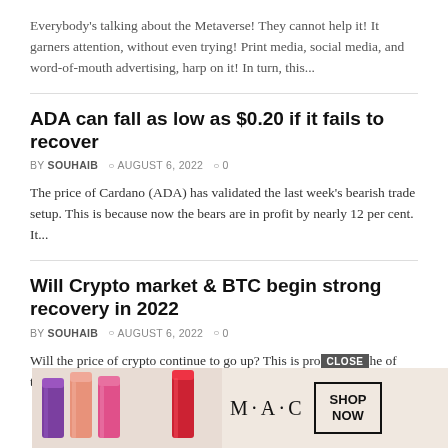Everybody's talking about the Metaverse! They cannot help it! It garners attention, without even trying! Print media, social media, and word-of-mouth advertising, harp on it! In turn, this...
ADA can fall as low as $0.20 if it fails to recover
BY SOUHAIB  © AUGUST 6, 2022  ©0
The price of Cardano (ADA) has validated the last week's bearish trade setup. This is because now the bears are in profit by nearly 12 per cent. It...
Will Crypto market & BTC begin strong recovery in 2022
BY SOUHAIB  © AUGUST 6, 2022  ©0
Will the price of crypto continue to go up? This is probably one of the most... cryptocu...
[Figure (illustration): MAC cosmetics advertisement banner showing lipsticks, MAC logo, and SHOP NOW button with CLOSE button overlay]